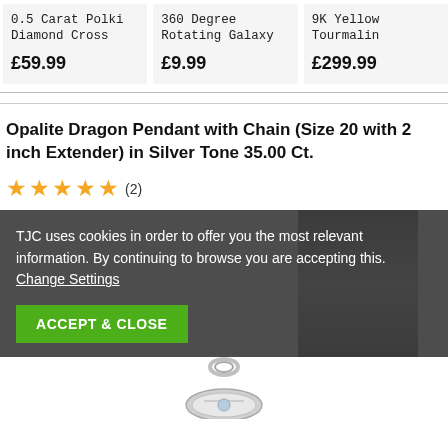0.5 Carat Polki Diamond Cross
£59.99
360 Degree Rotating Galaxy
£9.99
9K Yellow Tourmalin
£299.99
Opalite Dragon Pendant with Chain (Size 20 with 2 inch Extender) in Silver Tone 35.00 Ct.
★★★★★ (2)
TJC uses cookies in order to offer you the most relevant information. By continuing to browse you are accepting this. Change Settings
ACCEPT & CLOSE
[Figure (photo): Partial image of a dragon pendant in silver tone with chain visible at top and pendant bottom visible]